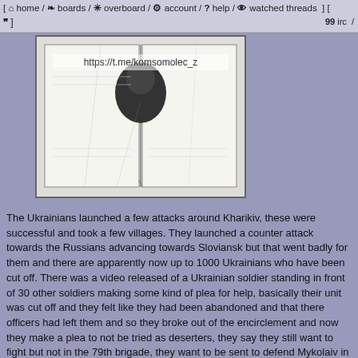[ ⌂ home / ❧ boards / ✳ overboard / ⚙ account / ? help / 👁 watched threads ] [ 99 irc / ❞ ]
[Figure (photo): Black and white photograph showing a person, with text overlay 'https://t.me/komsomolec_z']
The Ukrainians launched a few attacks around Kharikiv, these were successful and took a few villages. They launched a counter attack towards the Russians advancing towards Sloviansk but that went badly for them and there are apparently now up to 1000 Ukrainians who have been cut off. There was a video released of a Ukrainian soldier standing in front of 30 other soldiers making some kind of plea for help, basically their unit was cut off and they felt like they had been abandoned and that there officers had left them and so they broke out of the encirclement and now they make a plea to not be tried as deserters, they say they still want to fight but not in the 79th brigade, they want to be sent to defend Mykolaiv in another unit. I don't know if this was part of that group of possibly up to 1000 that was said to have been cut of or if this is another group.
But regarding Mykolaiv, the Russians are moving to cut of the Ukrainian forces around Oleksandrivka which is a town by the sea, the Ukrainians have said they are planning a counter attack however.